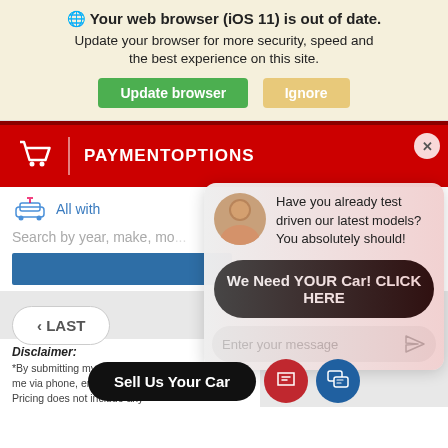🌐 Your web browser (iOS 11) is out of date.
Update your browser for more security, speed and the best experience on this site.
Update browser | Ignore
[Figure (screenshot): Car dealership website screenshot showing red PAYMENT OPTIONS header with cart icon, chat popup with avatar saying 'Have you already test driven our latest models? You absolutely should!', black CTA button 'We Need YOUR Car! CLICK HERE', message input field, LAST navigation button, Sell Us Your Car bottom button, disclaimer text]
Disclaimer: *By submitting my contact ... by D... o cu... me via phone, email or SMS text messaging. Pricing does not include any